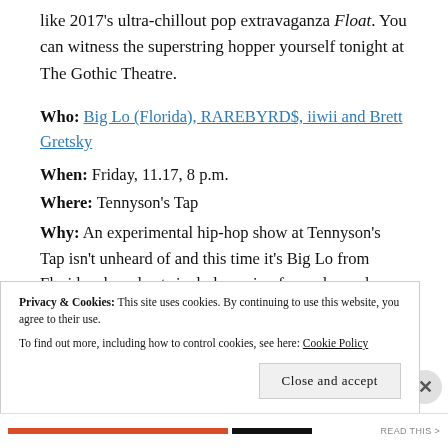like 2017's ultra-chillout pop extravaganza Float. You can witness the superstring hopper yourself tonight at The Gothic Theatre.
Who: Big Lo (Florida), RAREBYRD$, iiwii and Brett Gretsky
When: Friday, 11.17, 8 p.m.
Where: Tennyson's Tap
Why: An experimental hip-hop show at Tennyson's Tap isn't unheard of and this time it's Big Lo from Florida whose beats include a mix of samples and turntablism to create a sense of introspection in the face of
Privacy & Cookies: This site uses cookies. By continuing to use this website, you agree to their use. To find out more, including how to control cookies, see here: Cookie Policy
Close and accept